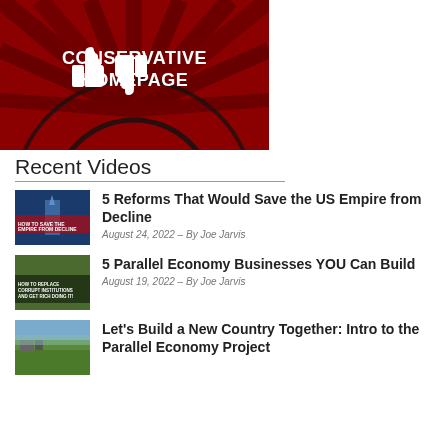[Figure (illustration): Red background with radiating dark lines and a thumbs up / thumbs down white icon. Bold white text reads 'CONSERVATIVE HOMEPAGE' at the top.]
Recent Videos
5 Reforms That Would Save the US Empire from Decline — August 24, 2022 – By Joe Jarvis
5 Parallel Economy Businesses YOU Can Build — August 19, 2022 – By Joe Jarvis
Let's Build a New Country Together: Intro to the Parallel Economy Project